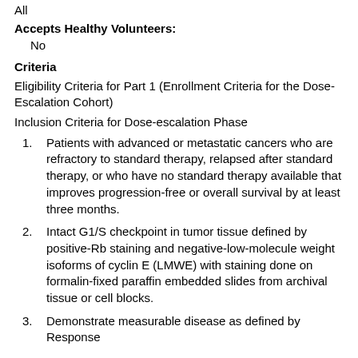All
Accepts Healthy Volunteers:
No
Criteria
Eligibility Criteria for Part 1 (Enrollment Criteria for the Dose-Escalation Cohort)
Inclusion Criteria for Dose-escalation Phase
Patients with advanced or metastatic cancers who are refractory to standard therapy, relapsed after standard therapy, or who have no standard therapy available that improves progression-free or overall survival by at least three months.
Intact G1/S checkpoint in tumor tissue defined by positive-Rb staining and negative-low-molecule weight isoforms of cyclin E (LMWE) with staining done on formalin-fixed paraffin embedded slides from archival tissue or cell blocks.
Demonstrate measurable disease as defined by Response